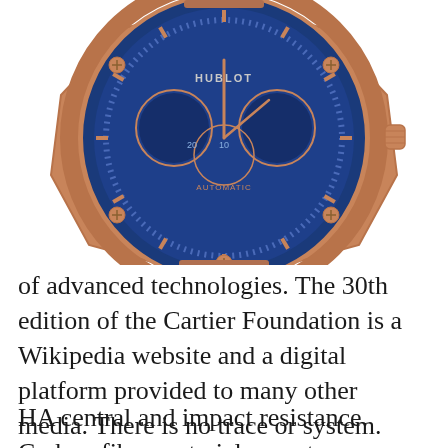[Figure (photo): A Hublot luxury chronograph watch with a rose gold octagonal case and blue skeleton dial showing 'HUBLOT' and 'AUTOMATIC' text, with chronograph sub-dials and rose gold indices on a blue background.]
of advanced technologies. The 30th edition of the Cartier Foundation is a Wikipedia website and a digital platform provided to many other media. There is no trace or system.
HA central and impact resistance. Carbon fiber materials are stronger than titanium, stronger